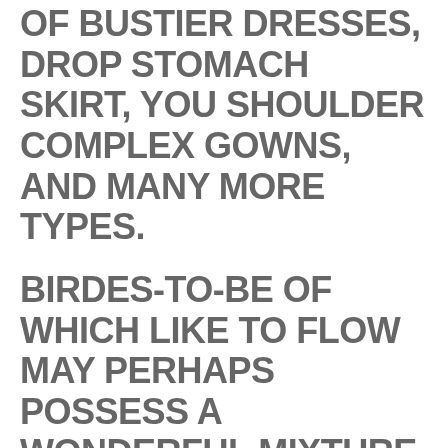OF BUSTIER DRESSES, DROP STOMACH SKIRT, YOU SHOULDER COMPLEX GOWNS, AND MANY MORE TYPES.
BIRDES-TO-BE OF WHICH LIKE TO FLOW MAY PERHAPS POSSESS A WONDERFUL MIXTURE ASSOCIATED WITH DANCEWEAR OPTIONS. A LARGE NUMBER OF MAKERS DELIVER BOTH THE USUAL HOSIERY PLUS DANCING BOOTS AND SHOES THAT A STAR OF THE WEDDING NEED TO HAVE. THESE ▶ TOP